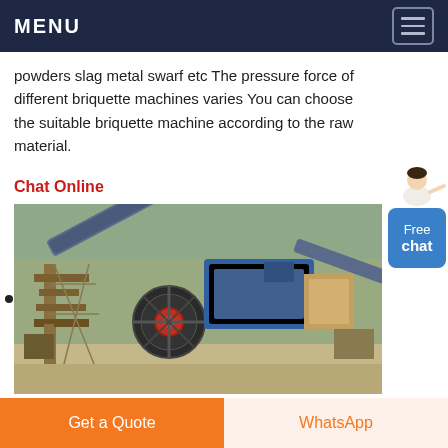MENU
powders slag metal swarf etc The pressure force of different briquette machines varies You can choose the suitable briquette machine according to the raw material.
Chat Online
[Figure (photo): Aerial/overhead view of an industrial mining or crushing plant with heavy machinery, conveyor belts, and scaffolding structures]
Briquette Machine Briquetting